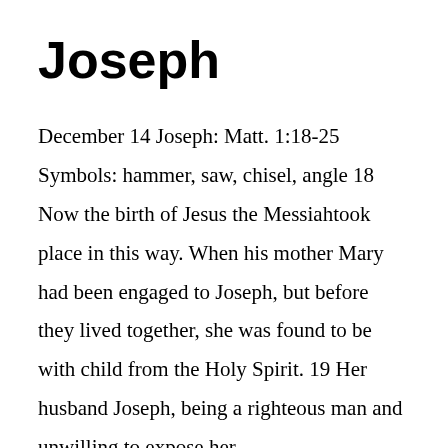Joseph
December 14 Joseph: Matt. 1:18-25 Symbols: hammer, saw, chisel, angle 18 Now the birth of Jesus the Messiahtook place in this way. When his mother Mary had been engaged to Joseph, but before they lived together, she was found to be with child from the Holy Spirit. 19 Her husband Joseph, being a righteous man and unwilling to expose her …